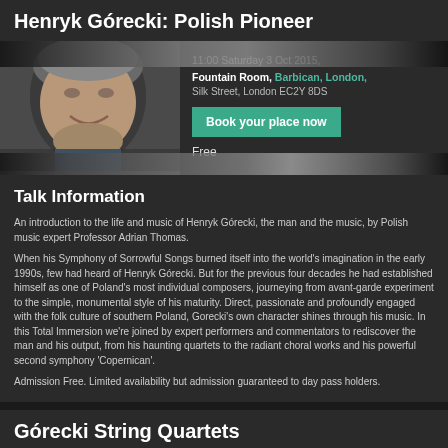Henryk Górecki: Polish Pioneer
[Figure (photo): Portrait photo of Henryk Górecki, an older man smiling]
11:00 Saturday 3 Oct 2015, Fountain Room, Barbican, London, Silk Street, London EC2Y 8DS
Book your place now
Free
Talk Information
An introduction to the life and music of Henryk Górecki, the man and the music, by Polish music expert Professor Adrian Thomas.
When his Symphony of Sorrowful Songs burned itself into the world's imagination in the early 1990s, few had heard of Henryk Górecki. But for the previous four decades he had established himself as one of Poland's most individual composers, journeying from avant-garde experiment to the simple, monumental style of his maturity. Direct, passionate and profoundly engaged with the folk culture of southern Poland, Gorecki's own character shines through his music. In this Total Immersion we're joined by expert performers and commentators to rediscover the man and his output, from his haunting quartets to the radiant choral works and his powerful second symphony 'Copernican'.
Admission Free. Limited availability but admission guaranteed to day pass holders.
Górecki String Quartets
[Figure (photo): Photo of four musicians in the Górecki String Quartets]
13:00 Saturday 3 Oct 2015, St Giles' Cripplegate, London
Book Tickets